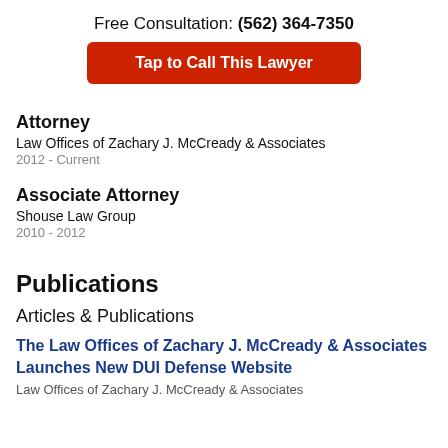Free Consultation: (562) 364-7350
Tap to Call This Lawyer
Attorney
Law Offices of Zachary J. McCready & Associates
2012 - Current
Associate Attorney
Shouse Law Group
2010 - 2012
Publications
Articles & Publications
The Law Offices of Zachary J. McCready & Associates Launches New DUI Defense Website
Law Offices of Zachary J. McCready & Associates